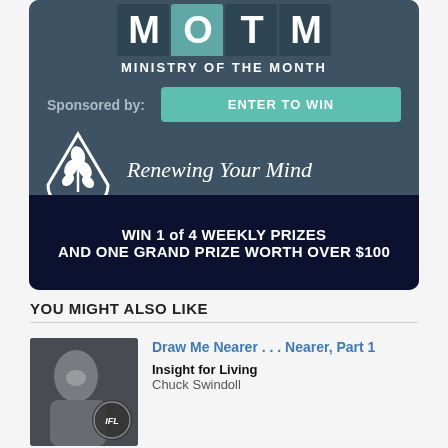[Figure (infographic): Ministry of the Month banner with MOTM block letters, sponsored by section, Enter to Win button, Renewing Your Mind logo and text, dark band with prize text]
YOU MIGHT ALSO LIKE
[Figure (photo): Thumbnail photo of a man (Chuck Swindoll) smiling with a circular badge/logo overlay]
Draw Me Nearer . . . Nearer, Part 1
Insight for Living
Chuck Swindoll